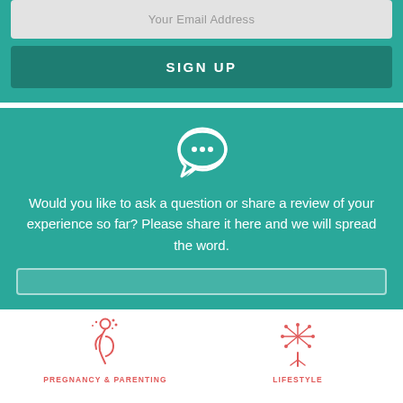Your Email Address
SIGN UP
[Figure (illustration): White speech bubble icon with three dots inside, on teal background]
Would you like to ask a question or share a review of your experience so far? Please share it here and we will spread the word.
[Figure (illustration): Pregnancy & Parenting category icon - red line illustration of pregnant woman]
PREGNANCY & PARENTING
[Figure (illustration): Lifestyle category icon - red line illustration of decorative plant/fireworks]
LIFESTYLE